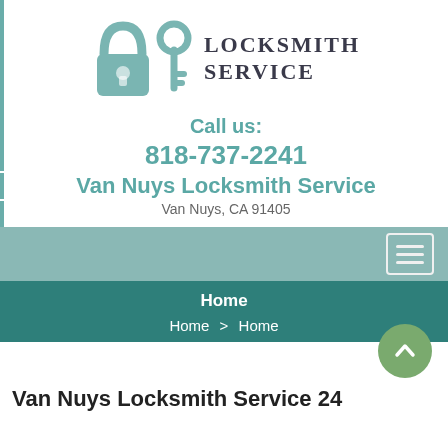[Figure (logo): Locksmith Service logo with padlock and key icons, text LOCKSMITH SERVICE]
Call us:
818-737-2241
Van Nuys Locksmith Service
Van Nuys, CA 91405
[Figure (other): Navigation bar with hamburger menu icon]
Home
Home > Home
Van Nuys Locksmith Service 24